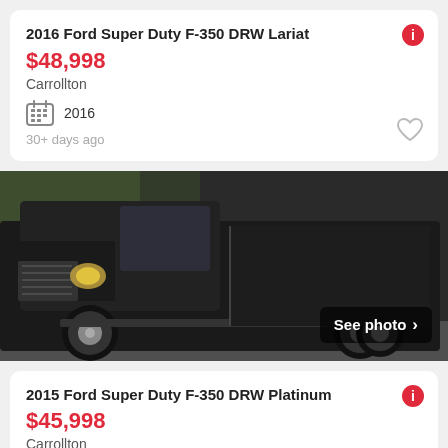2016 Ford Super Duty F-350 DRW Lariat
$48,998
Carrollton
2016
30+ days ago
[Figure (photo): Black Ford Super Duty F-350 DRW truck photographed from the side/front angle in a driveway setting with trees in background. 'See photo >' overlay in bottom right.]
2015 Ford Super Duty F-350 DRW Platinum
$45,998
Carrollton